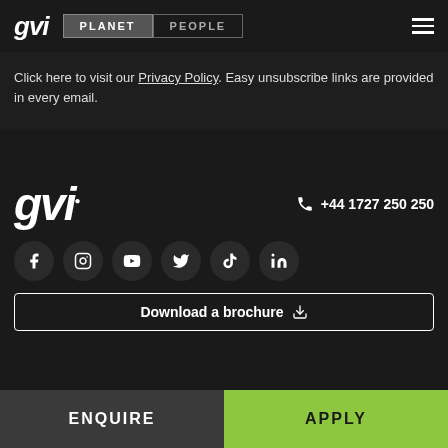gvi | PLANET | PEOPLE
Click here to visit our Privacy Policy. Easy unsubscribe links are provided in every email.
[Figure (logo): GVI logo in footer with italic bold text]
+44 1727 250 250
[Figure (infographic): Social media icons: Facebook, Instagram, YouTube, Twitter, TikTok, LinkedIn]
Download a brochure
ENQUIRE
APPLY